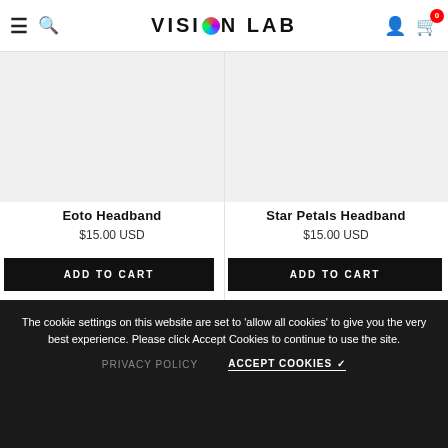[Figure (logo): Vision Lab logo with colorful eye icon, hamburger menu, search icon, person icon, and cart with badge showing 0]
Eoto Headband
$15.00 USD
ADD TO CART
Star Petals Headband
$15.00 USD
ADD TO CART
The cookie settings on this website are set to 'allow all cookies' to give you the very best experience. Please click Accept Cookies to continue to use the site.
PRIVACY POLICY
ACCEPT COOKIES ✓